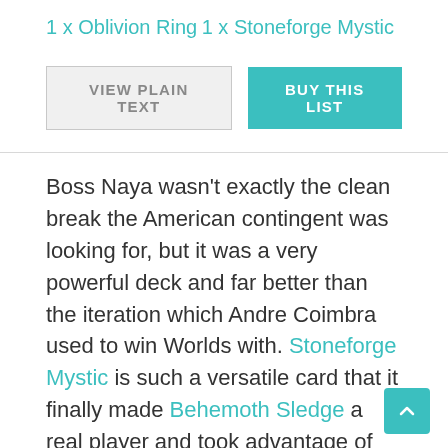1 x Oblivion Ring
1 x Stoneforge Mystic
Boss Naya wasn't exactly the clean break the American contingent was looking for, but it was a very powerful deck and far better than the iteration which Andre Coimbra used to win Worlds with. Stoneforge Mystic is such a versatile card that it finally made Behemoth Sledge a real player and took advantage of Basilisk